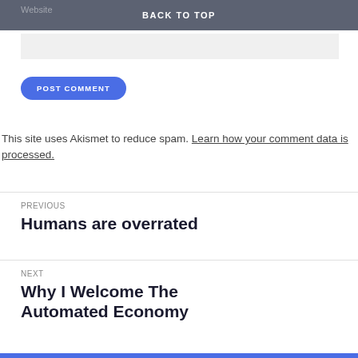Website
BACK TO TOP
POST COMMENT
This site uses Akismet to reduce spam. Learn how your comment data is processed.
PREVIOUS
Humans are overrated
NEXT
Why I Welcome The Automated Economy